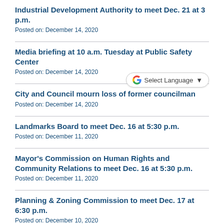Industrial Development Authority to meet Dec. 21 at 3 p.m.
Posted on: December 14, 2020
Media briefing at 10 a.m. Tuesday at Public Safety Center
Posted on: December 14, 2020
City and Council mourn loss of former councilman
Posted on: December 14, 2020
Landmarks Board to meet Dec. 16 at 5:30 p.m.
Posted on: December 11, 2020
Mayor's Commission on Human Rights and Community Relations to meet Dec. 16 at 5:30 p.m.
Posted on: December 11, 2020
Planning & Zoning Commission to meet Dec. 17 at 6:30 p.m.
Posted on: December 10, 2020